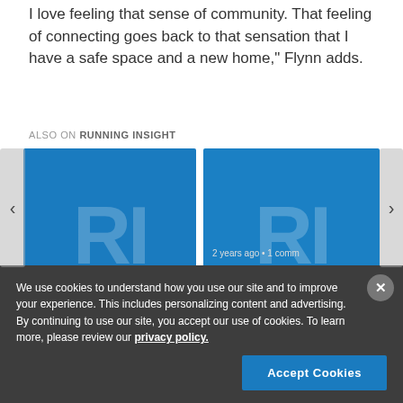I love feeling that sense of community. That feeling of connecting goes back to that sensation that I have a safe space and a new home," Flynn adds.
ALSO ON RUNNING INSIGHT
[Figure (screenshot): Two article preview cards with blue Running Insight logo backgrounds and navigation arrows on a website]
We use cookies to understand how you use our site and to improve your experience. This includes personalizing content and advertising. By continuing to use our site, you accept our use of cookies. To learn more, please review our privacy policy.